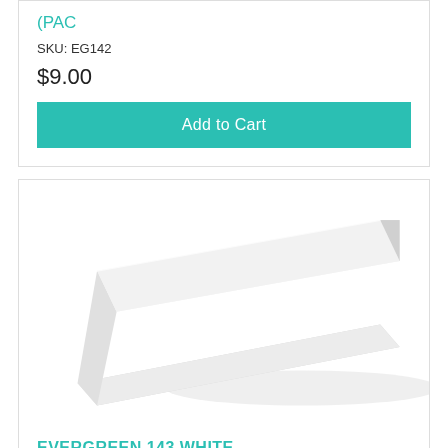(PAC
SKU: EG142
$9.00
Add to Cart
[Figure (photo): White styrene strip product photo showing a flat rectangular white plastic strip at a diagonal angle against a white background]
EVERGREEN 143 WHITE STYRENE STRIP .040 X .060